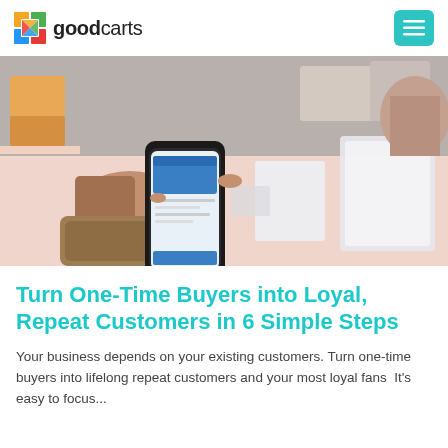goodcarts
[Figure (photo): A person holding a smartphone with a payment app displayed, at a retail counter with white display stands and another person in the background.]
Turn One-Time Buyers into Loyal, Repeat Customers in 6 Simple Steps
Your business depends on your existing customers. Turn one-time buyers into lifelong repeat customers and your most loyal fans  It's easy to focus...